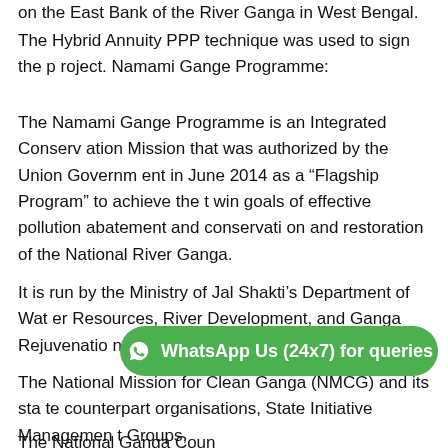on the East Bank of the River Ganga in West Bengal.
The Hybrid Annuity PPP technique was used to sign the project. Namami Gange Programme:
The Namami Gange Programme is an Integrated Conservation Mission that was authorized by the Union Government in June 2014 as a “Flagship Program” to achieve the twin goals of effective pollution abatement and conservation and restoration of the National River Ganga.
It is run by the Ministry of Jal Shakti’s Department of Water Resources, River Development, and Ganga Rejuvenation.
The National Mission for Clean Ganga (NMCG) and its state counterpart organisations, State Initiative Management Groups, and PMGs).
The National Ganga Council has been set the overall...